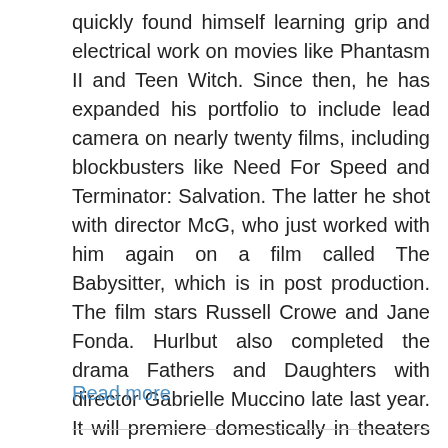quickly found himself learning grip and electrical work on movies like Phantasm II and Teen Witch. Since then, he has expanded his portfolio to include lead camera on nearly twenty films, including blockbusters like Need For Speed and Terminator: Salvation. The latter he shot with director McG, who just worked with him again on a film called The Babysitter, which is in post production. The film stars Russell Crowe and Jane Fonda. Hurlbut also completed the drama Fathers and Daughters with director Gabrielle Muccino late last year. It will premiere domestically in theaters this July.
Read more